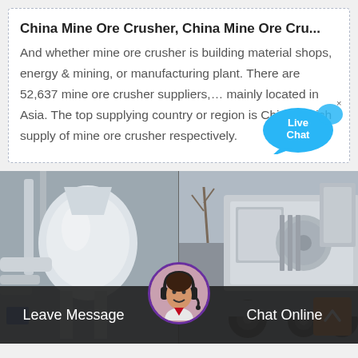China Mine Ore Crusher, China Mine Ore Cru...
And whether mine ore crusher is building material shops, energy & mining, or manufacturing plant. There are 52,637 mine ore crusher suppliers,… mainly located in Asia. The top supplying country or region is China, which supply of mine ore crusher respectively.
[Figure (photo): Two mining/crushing machines side by side: left shows a white industrial mill/grinder machine indoors; right shows a large mobile jaw crusher on a truck outdoors.]
Leave Message
Chat Online